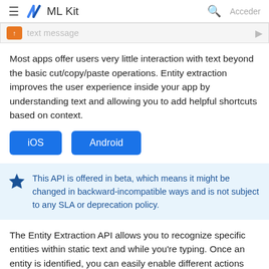ML Kit
[Figure (screenshot): Partial screenshot showing a text message input field with an orange icon]
Most apps offer users very little interaction with text beyond the basic cut/copy/paste operations. Entity extraction improves the user experience inside your app by understanding text and allowing you to add helpful shortcuts based on context.
iOS
Android
This API is offered in beta, which means it might be changed in backward-incompatible ways and is not subject to any SLA or deprecation policy.
The Entity Extraction API allows you to recognize specific entities within static text and while you're typing. Once an entity is identified, you can easily enable different actions